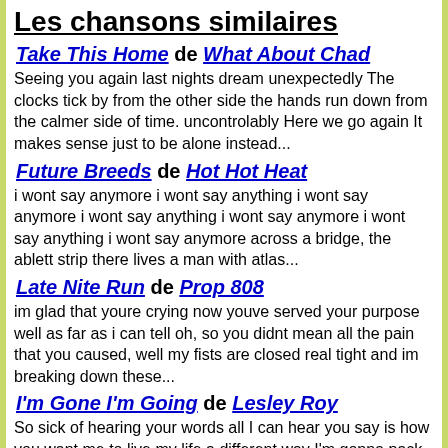Les chansons similaires
Take This Home de What About Chad
Seeing you again last nights dream unexpectedly The clocks tick by from the other side the hands run down from the calmer side of time. uncontrolably Here we go again It makes sense just to be alone instead...
Future Breeds de Hot Hot Heat
i wont say anymore i wont say anything i wont say anymore i wont say anything i wont say anymore i wont say anything i wont say anymore across a bridge, the ablett strip there lives a man with atlas...
Late Nite Run de Prop 808
im glad that youre crying now youve served your purpose well as far as i can tell oh, so you didnt mean all the pain that you caused, well my fists are closed real tight and im breaking down these...
I'm Gone I'm Going de Lesley Roy
So sick of hearing your words all I can hear you say is how you want me to live my life a different way I'm gonna pack up my things I'm gonna do it just watch